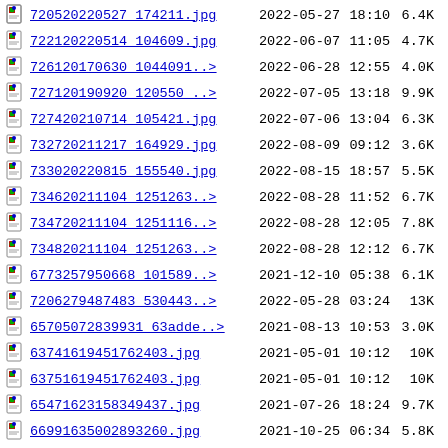| icon | filename | date | time | size |
| --- | --- | --- | --- | --- |
| [img] | 720520220527 174211.jpg | 2022-05-27 | 18:10 | 6.4K |
| [img] | 722120220514 104609.jpg | 2022-06-07 | 11:05 | 4.7K |
| [img] | 726120170630 1044091..> | 2022-06-28 | 12:55 | 4.0K |
| [img] | 727120190920 120550 ..> | 2022-07-05 | 13:18 | 9.9K |
| [img] | 727420210714 105421.jpg | 2022-07-06 | 13:04 | 6.3K |
| [img] | 732720211217 164929.jpg | 2022-08-09 | 09:12 | 3.6K |
| [img] | 733020220815 155540.jpg | 2022-08-15 | 18:57 | 5.5K |
| [img] | 734620211104 1251263..> | 2022-08-28 | 11:52 | 6.7K |
| [img] | 734720211104 1251116..> | 2022-08-28 | 12:05 | 7.8K |
| [img] | 734820211104 1251263..> | 2022-08-28 | 12:12 | 6.7K |
| [img] | 6773257950668 101589..> | 2021-12-10 | 05:38 | 6.1K |
| [img] | 7206279487483 530443..> | 2022-05-28 | 03:24 | 13K |
| [img] | 65705072839931 63adde..> | 2021-08-13 | 10:53 | 3.0K |
| [img] | 63741619451762403.jpg | 2021-05-01 | 10:12 | 10K |
| [img] | 63751619451762403.jpg | 2021-05-01 | 10:12 | 10K |
| [img] | 65471623158349437.jpg | 2021-07-26 | 18:24 | 9.7K |
| [img] | 66991635002893260.jpg | 2021-10-25 | 06:34 | 5.8K |